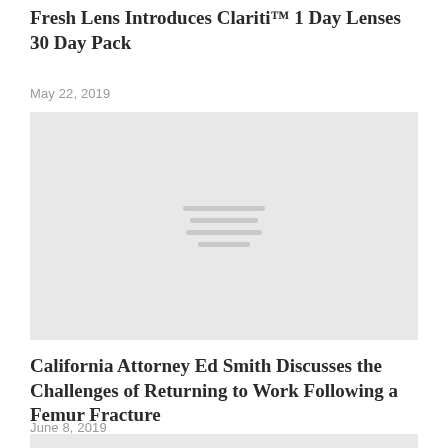Fresh Lens Introduces Clariti™ 1 Day Lenses 30 Day Pack
May 22, 2019
[Figure (photo): Placeholder image with four horizontal lines centered on a light gray background]
California Attorney Ed Smith Discusses the Challenges of Returning to Work Following a Femur Fracture
June 8, 2019
[Figure (photo): Partial placeholder image at bottom of page, light gray background]